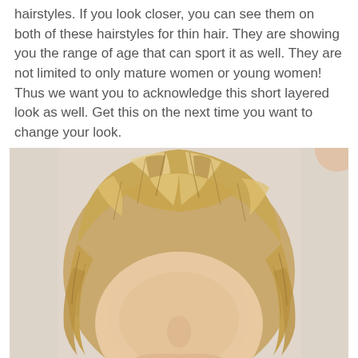hairstyles. If you look closer, you can see them on both of these hairstyles for thin hair. They are showing you the range of age that can sport it as well. They are not limited to only mature women or young women! Thus we want you to acknowledge this short layered look as well. Get this on the next time you want to change your look.
[Figure (photo): Close-up photo of a woman with a short, layered blonde hairstyle against a light background.]